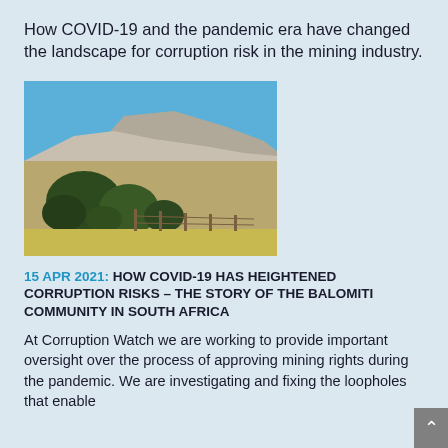How COVID-19 and the pandemic era have changed the landscape for corruption risk in the mining industry.
[Figure (photo): Outdoor landscape photo showing scrubland vegetation in the foreground with a large mine dump or hill in the background under a clear blue sky — typical South African mining landscape.]
15 APR 2021: HOW COVID-19 HAS HEIGHTENED CORRUPTION RISKS – THE STORY OF THE BALOMITI COMMUNITY IN SOUTH AFRICA
At Corruption Watch we are working to provide important oversight over the process of approving mining rights during the pandemic. We are investigating and fixing the loopholes that enable